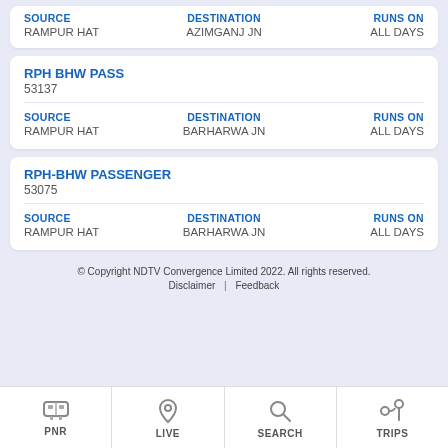SOURCE: RAMPUR HAT | DESTINATION: AZIMGANJ JN | RUNS ON: ALL DAYS
RPH BHW PASS
53137
SOURCE: RAMPUR HAT | DESTINATION: BARHARWA JN | RUNS ON: ALL DAYS
RPH-BHW PASSENGER
53075
SOURCE: RAMPUR HAT | DESTINATION: BARHARWA JN | RUNS ON: ALL DAYS
© Copyright NDTV Convergence Limited 2022. All rights reserved. Disclaimer | Feedback
PNR | LIVE | SEARCH | TRIPS